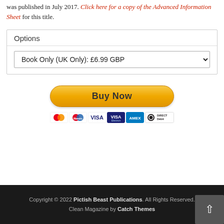was published in July 2017. Click here for a copy of the Advanced Information Sheet for this title.
Options
Book Only (UK Only): £6.99 GBP
[Figure (other): PayPal Buy Now button with payment icons: Mastercard, Maestro, Visa, Visa Electron, American Express, Direct Debit]
Copyright © 2022 Pictish Beast Publications. All Rights Reserved. Clean Magazine by Catch Themes